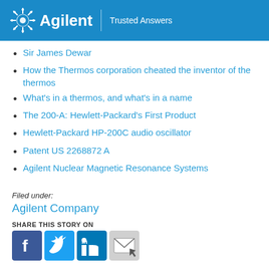Agilent | Trusted Answers
Sir James Dewar
How the Thermos corporation cheated the inventor of the thermos
What's in a thermos, and what's in a name
The 200-A: Hewlett-Packard's First Product
Hewlett-Packard HP-200C audio oscillator
Patent US 2268872 A
Agilent Nuclear Magnetic Resonance Systems
Filed under:
Agilent Company
SHARE THIS STORY ON
[Figure (other): Social media sharing icons: Facebook, Twitter, LinkedIn, Email]